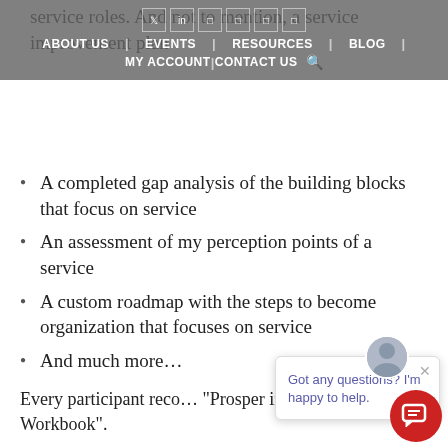service roles. And not to mention, a service improvement plan
ABOUT US | EVENTS | RESOURCES | BLOG | MY ACCOUNT | CONTACT US
A completed gap analysis of the building blocks that focus on service
An assessment of my perception points of a service
A custom roadmap with the steps to become organization that focuses on service
And much more…
Every participant reco… "Prosper in a Service… Workbook".
In addition, the Prosper in a Service Culture workshop includes two (2) hours of online individual coaching. You can make use of this, after the session. This represents a $500 value.